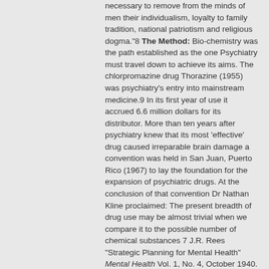necessary to remove from the minds of men their individualism, loyalty to family tradition, national patriotism and religious dogma."8 The Method: Bio-chemistry was the path established as the one Psychiatry must travel down to achieve its aims. The chlorpromazine drug Thorazine (1955) was psychiatry's entry into mainstream medicine.9 In its first year of use it accrued 6.6 million dollars for its distributor. More than ten years after psychiatry knew that its most 'effective' drug caused irreparable brain damage a convention was held in San Juan, Puerto Rico (1967) to lay the foundation for the expansion of psychiatric drugs. At the conclusion of that convention Dr Nathan Kline proclaimed: The present breadth of drug use may be almost trivial when we compare it to the possible number of chemical substances 7 J.R. Rees "Strategic Planning for Mental Health" Mental Health Vol. 1, No. 4, October 1940. Rees laid out his views quite specifically in his book Background and Belief, (United Kingdom, SCM Press, 1967). 8 Interview Psychiatry an Industry of Death, DVD presented by The Citizens Commission on Human